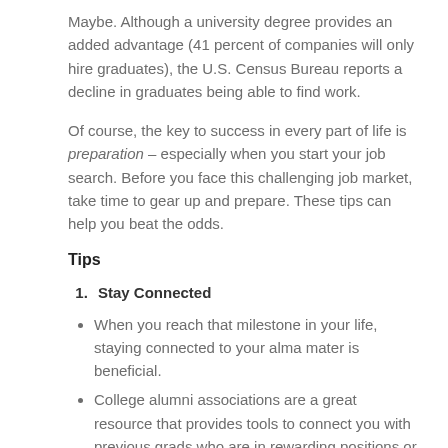Maybe. Although a university degree provides an added advantage (41 percent of companies will only hire graduates), the U.S. Census Bureau reports a decline in graduates being able to find work.
Of course, the key to success in every part of life is preparation – especially when you start your job search. Before you face this challenging job market, take time to gear up and prepare. These tips can help you beat the odds.
Tips
Stay Connected
When you reach that milestone in your life, staying connected to your alma mater is beneficial.
College alumni associations are a great resource that provides tools to connect you with previous grads who are in rewarding positions or own a